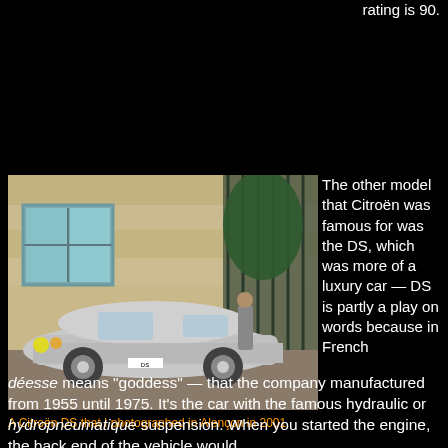rating is 90.
[Figure (photo): A Citroën DS photographed in Alençon in 2001, parked on a cobblestone street in front of a stone building with blue-framed windows and iron gates.]
A Citroën DS that I photographed in Alençon in 2001
The other model that Citroën was famous for was the DS, which was more of a luxury car — DS is partly a play on words because in French déesse means "goddess" — that the company manufactured from 1955 until 1975. It's the car with the famous hydraulic or hydropneumatique suspension. When you started the engine, the back end of the vehicle would